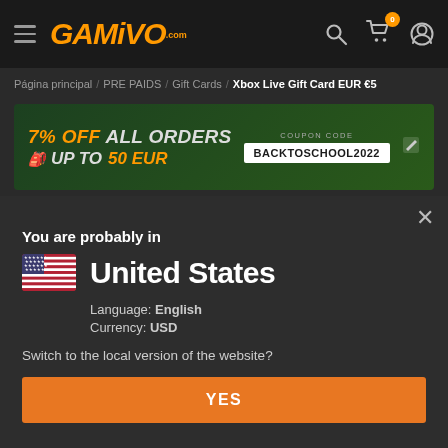GAMIVO.com
Página principal / PRE PAIDS / Gift Cards / Xbox Live Gift Card EUR €5
[Figure (infographic): Promotional banner: 7% OFF ALL ORDERS UP TO 50 EUR. Coupon code: BACKTOSCHOOL2022]
You are probably in
United States
Language: English
Currency: USD
Switch to the local version of the website?
YES